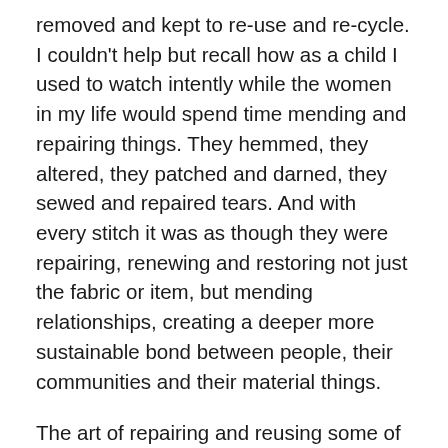removed and kept to re-use and re-cycle. I couldn't help but recall how as a child I used to watch intently while the women in my life would spend time mending and repairing things. They hemmed, they altered, they patched and darned, they sewed and repaired tears. And with every stitch it was as though they were repairing, renewing and restoring not just the fabric or item, but mending relationships, creating a deeper more sustainable bond between people, their communities and their material things.
The art of repairing and reusing some of our personal belongings like footwear, nylons, school bags, umbrellas, upholstery, and clothing is a world away from today's pressures of new purchases and consumption. In truth, most people know very little now about mending. We live in a world of throwaway culture, having given in to fast